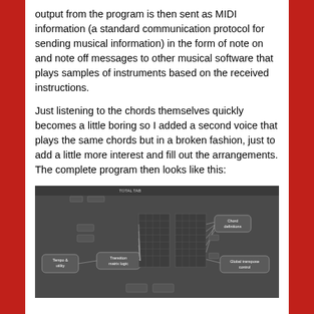output from the program is then sent as MIDI information (a standard communication protocol for sending musical information) in the form of note on and note off messages to other musical software that plays samples of instruments based on the received instructions.
Just listening to the chords themselves quickly becomes a little boring so I added a second voice that plays the same chords but in a broken fashion, just to add a little more interest and fill out the arrangements. The complete program then looks like this:
[Figure (flowchart): A flowchart/node diagram showing a music program with labeled boxes: 'Tempo & utility', 'Transition matrix logic', 'Chord definitions', and 'Global transpose control', connected by lines representing data flow between components.]